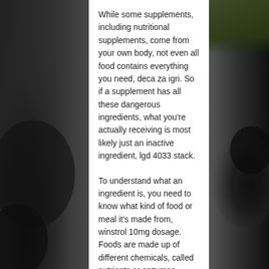[Figure (photo): Dark background photo panels on left and right sides of a content page, showing what appears to be dark automotive or industrial objects with some greenery visible at the top right corner.]
While some supplements, including nutritional supplements, come from your own body, not even all food contains everything you need, deca za igri. So if a supplement has all these dangerous ingredients, what you're actually receiving is most likely just an inactive ingredient, lgd 4033 stack.
To understand what an ingredient is, you need to know what kind of food or meal it's made from, winstrol 10mg dosage. Foods are made up of different chemicals, called nutrients or enzymes. When you eat a nutritious meal (that most people can't get enough of) or supplement that contains all the nutrients you need, the enzymes in your body convert the healthy food into the nutrient you need. That's how we get more energy,